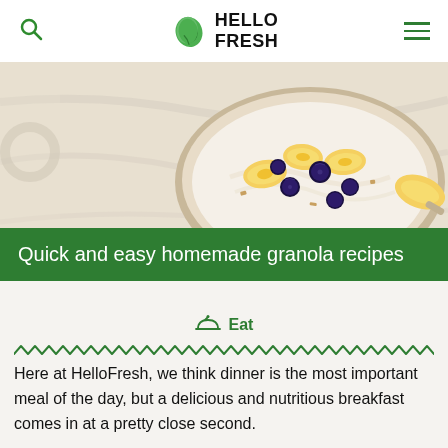HelloFresh
[Figure (photo): Overhead view of a bowl of yogurt topped with blueberries and banana slices on a marble surface]
Quick and easy homemade granola recipes
Eat
Here at HelloFresh, we think dinner is the most important meal of the day, but a delicious and nutritious breakfast comes in at a pretty close second.
Finding a healthy (...)